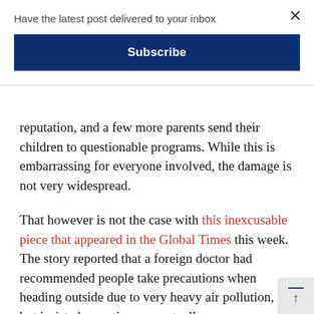Have the latest post delivered to your inbox
Subscribe
reputation, and a few more parents send their children to questionable programs. While this is embarrassing for everyone involved, the damage is not very widespread.
That however is not the case with this inexcusable piece that appeared in the Global Times this week. The story reported that a foreign doctor had recommended people take precautions when heading outside due to very heavy air pollution, but insisted no action was actually necessary.